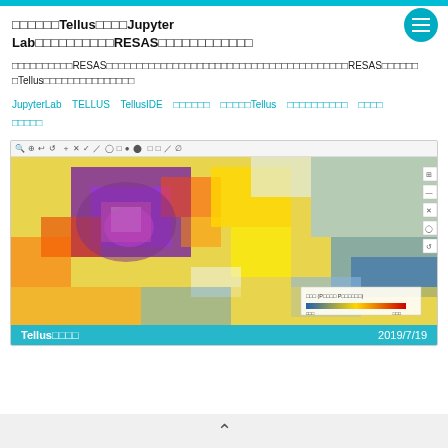□□□□□□TellusでつかうJupyter Lab□□□□□□□□□□RESAS□□□□□□□□□□□□
□□□□□□□□□□RESAS□□□□□□□□□□□□□□□□□□□□□□□□□□□□□□□□□□□□□□□□RESAS□□□□□□TellusでつかうJupyter□□□□□□□□□□□□□□
JupyterLab  TELLUS  TellusIDE  □□□□□□  □□□□□Tellus  □□□□□□□□□□  □□□□  □□□□□
[Figure (screenshot): Screenshot of Tellus platform showing a heatmap visualization over a geographic area. The map displays a colorful overlay with purple, red, orange, yellow, and blue regions indicating different data intensities. A toolbar is visible at the top of the screenshot and side controls on the right. A legend box is visible in the bottom right of the map. Caption bar at bottom reads 'Tellus□□□□' on the left and '2019/7/19' on the right.]